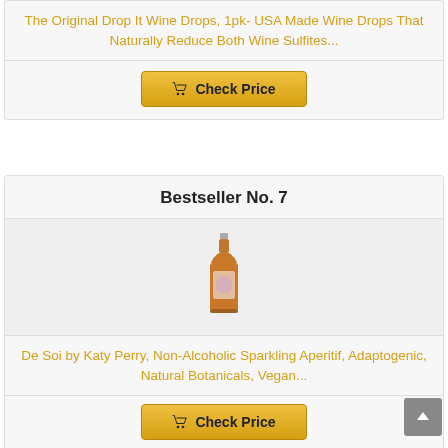The Original Drop It Wine Drops, 1pk- USA Made Wine Drops That Naturally Reduce Both Wine Sulfites...
[Figure (other): Check Price button with shopping cart icon]
Bestseller No. 7
[Figure (photo): Product photo of a tall amber/orange bottle - De Soi by Katy Perry non-alcoholic sparkling aperitif]
De Soi by Katy Perry, Non-Alcoholic Sparkling Aperitif, Adaptogenic, Natural Botanicals, Vegan...
[Figure (other): Check Price button with shopping cart icon]